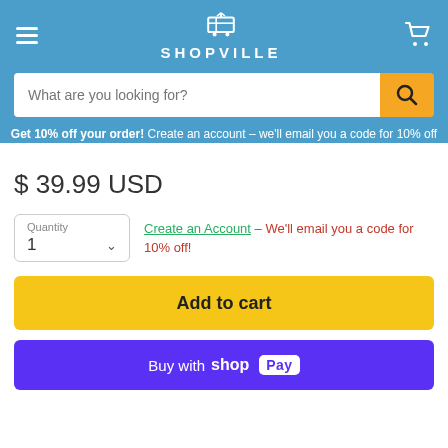SHOPVILLE
What are you looking for?
Get 10% off your order! Create an account – we'll email you a code for 10% off
$ 39.99 USD
Quantity 1
Create an Account - We'll email you a code for 10% off!
Add to cart
Buy with shop Pay